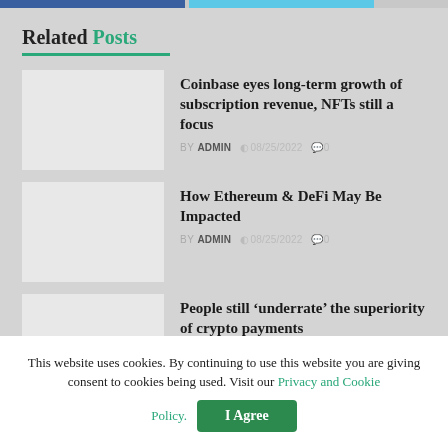Related Posts
Coinbase eyes long-term growth of subscription revenue, NFTs still a focus | BY ADMIN | 08/25/2022 | 0
How Ethereum & DeFi May Be Impacted | BY ADMIN | 08/25/2022 | 0
People still ‘underrate’ the superiority of crypto payments | BY ADMIN | 08/25/2022 | 0
This website uses cookies. By continuing to use this website you are giving consent to cookies being used. Visit our Privacy and Cookie Policy.